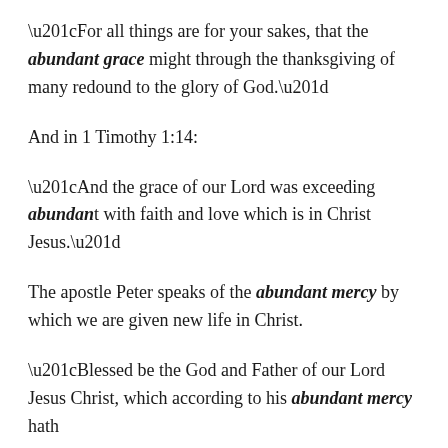“For all things are for your sakes, that the abundant grace might through the thanksgiving of many redound to the glory of God.”
And in 1 Timothy 1:14:
“And the grace of our Lord was exceeding abundant with faith and love which is in Christ Jesus.”
The apostle Peter speaks of the abundant mercy by which we are given new life in Christ.
“Blessed be the God and Father of our Lord Jesus Christ, which according to his abundant mercy hath